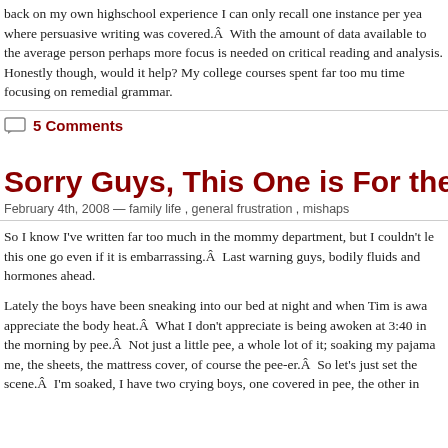back on my own highschool experience I can only recall one instance per year where persuasive writing was covered.Â  With the amount of data available to the average person perhaps more focus is needed on critical reading and analysis. Honestly though, would it help? My college courses spent far too much time focusing on remedial grammar.
5 Comments
Sorry Guys, This One is For the Gals
February 4th, 2008 — family life , general frustration , mishaps
So I know I’ve written far too much in the mommy department, but I couldn’t let this one go even if it is embarrassing.Â  Last warning guys, bodily fluids and hormones ahead.
Lately the boys have been sneaking into our bed at night and when Tim is away I appreciate the body heat.Â  What I don’t appreciate is being awoken at 3:40 in the morning by pee.Â  Not just a little pee, a whole lot of it; soaking my pajamas, me, the sheets, the mattress cover, of course the pee-er.Â  So let’s just set the scene.Â  I’m soaked, I have two crying boys, one covered in pee, the other in